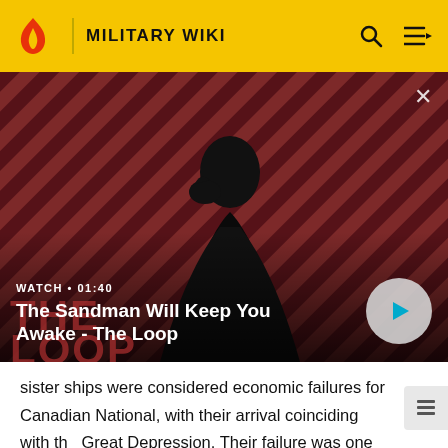MILITARY WIKI
[Figure (screenshot): Video thumbnail showing a dark-cloaked figure with a raven on shoulder against a red and black diagonal striped background. Text overlay reads WATCH • 01:40 and The Sandman Will Keep You Awake - The Loop. A play button is visible on the right.]
WATCH • 01:40
The Sandman Will Keep You Awake - The Loop
sister ships were considered economic failures for Canadian National, with their arrival coinciding with the Great Depression. Their failure was one of the contributing factors in the resignation of the president of Canadian National, Sir Henry Thornton. The ships were